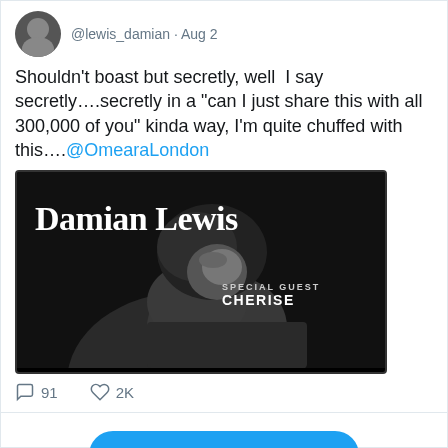@lewis_damian · Aug 2
Shouldn't boast but secretly, well  I say secretly….secretly in a “can I just share this with all 300,000 of you” kinda way, I'm quite chuffed with this….@OmearaLondon
[Figure (photo): Black and white concert poster for Damian Lewis with special guest Cherise]
91 replies, 2K likes
View more on Twitter
Learn more about privacy on Twitter